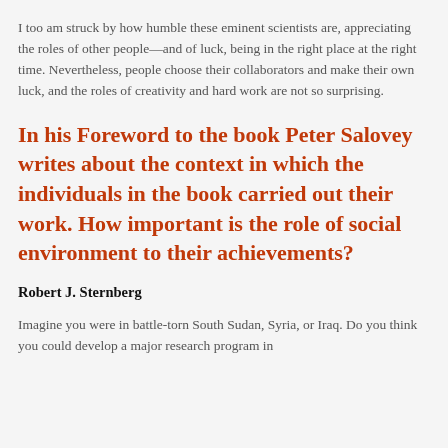I too am struck by how humble these eminent scientists are, appreciating the roles of other people—and of luck, being in the right place at the right time. Nevertheless, people choose their collaborators and make their own luck, and the roles of creativity and hard work are not so surprising.
In his Foreword to the book Peter Salovey writes about the context in which the individuals in the book carried out their work. How important is the role of social environment to their achievements?
Robert J. Sternberg
Imagine you were in battle-torn South Sudan, Syria, or Iraq. Do you think you could develop a major research program in